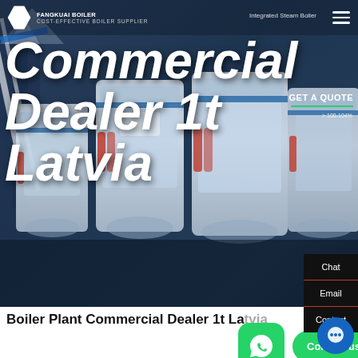COST-EFFECTIVE BOILER SUPPLIER | Integrated Steam Boiler
[Figure (screenshot): Website screenshot showing a commercial boiler supplier page. Hero banner with industrial boiler machinery image and large white italic text reading 'Commercial Dealer 1t Latvia'. Top navigation bar with logo, hamburger menu. Right sidebar with Chat, Email, Contact items. GET A QUOTE button with green underline. Efficiency rating text. Below hero: bold heading 'Boiler Plant Commercial Dealer 1t Latvia'. WhatsApp button and green 'Contact us now!' pill. HOT NEWS section in dark blue italic. Bottom bar with Send Message icon, live chat bubble 'Hey, we are live 24/7. How may I help you?', Inquiry Online button, and blue chat dots icon.]
Commercial Dealer 1t Latvia
Boiler Plant Commercial Dealer 1t Latvia
Contact us now!
HOT NEWS
Hey, we are live 24/7. How may I help you?
Send Message | Inquiry Online